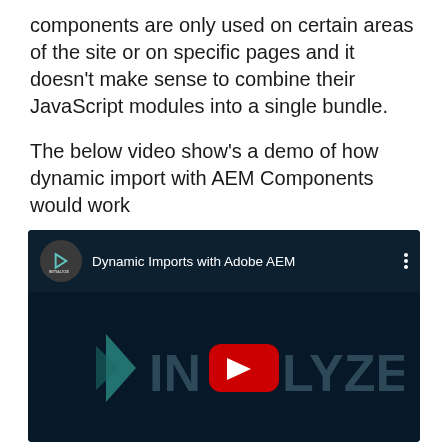components are only used on certain areas of the site or on specific pages and it doesn't make sense to combine their JavaScript modules into a single bundle.
The below video show's a demo of how dynamic import with AEM Components would work
[Figure (screenshot): Embedded YouTube video thumbnail showing 'Dynamic Imports with Adobe AEM' by INITIALYZE channel, with YouTube play button overlaid on an INITIALYZE logo watermark on a dark navy background.]